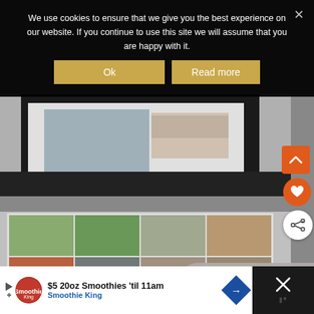[Figure (screenshot): Cookie consent overlay on dark background, showing message about cookies and two buttons: Ok and Read more, with an X close button in top right]
We use cookies to ensure that we give you the best experience on our website. If you continue to use this site we will assume that you are happy with it.
[Figure (screenshot): Website screenshot showing a framed photo product (appears to be a photo book or frame with multiple photos in a grid on white background with black frame), with orange up-arrow button, orange heart button, and white share button on the right side]
[Figure (screenshot): Instagram photo grid print product showing multiple children's photos arranged in a grid pattern on a white background]
[Figure (screenshot): What's Next card showing Inkifi Instagram... with thumbnail]
[Figure (screenshot): Advertisement bar for Smoothie King: $5 20oz Smoothies til 11am with logo and navigation icon, and a dark close button on the right]